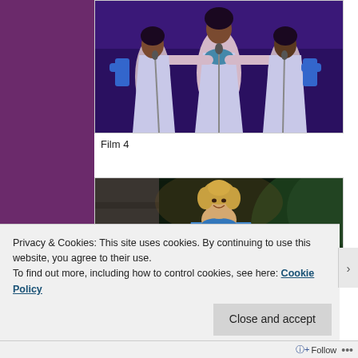[Figure (photo): Three women performers on stage in white dresses and blue gloves, arms outstretched, with microphones, against a dark purple curtain background.]
Film 4
[Figure (photo): A young blonde woman in a blue dress smiling, appears to be from a Cinderella film, dark background with greenery.]
Privacy & Cookies: This site uses cookies. By continuing to use this website, you agree to their use.
To find out more, including how to control cookies, see here: Cookie Policy
Close and accept